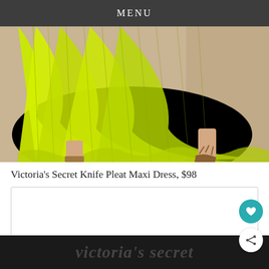MENU
[Figure (photo): A model wearing a bright neon yellow-green knife pleat maxi dress that is flowing and pleated. The lower portion of the dress and legs are visible. The model is wearing strappy sandals. Background is a warm beige/tan studio setting.]
Victoria's Secret Knife Pleat Maxi Dress, $98
[Figure (screenshot): A white card/box area with a border, partially visible below the product title.]
victoria's secret (partial logo visible)